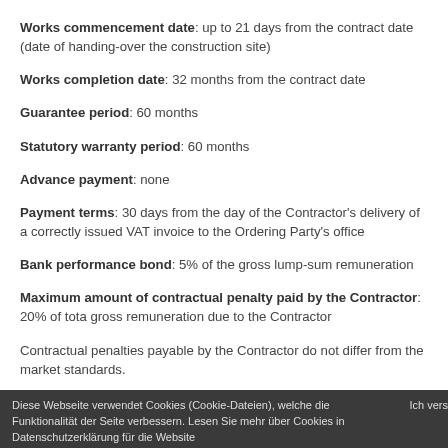Works commencement date: up to 21 days from the contract date (date of handing-over the construction site)
Works completion date: 32 months from the contract date
Guarantee period: 60 months
Statutory warranty period: 60 months
Advance payment: none
Payment terms: 30 days from the day of the Contractor's delivery of a correctly issued VAT invoice to the Ordering Party's office
Bank performance bond: 5% of the gross lump-sum remuneration
Maximum amount of contractual penalty paid by the Contractor: 20% of total gross remuneration due to the Contractor
Contractual penalties payable by the Contractor do not differ from the market standards.
The Ordering Party reserves the right to claim compensation in the amount of
Diese Webseite verwendet Cookies (Cookie-Dateien), welche die Funktionalität der Seite verbessern. Lesen Sie mehr über Cookies in Datenschutzerklärung für die Website